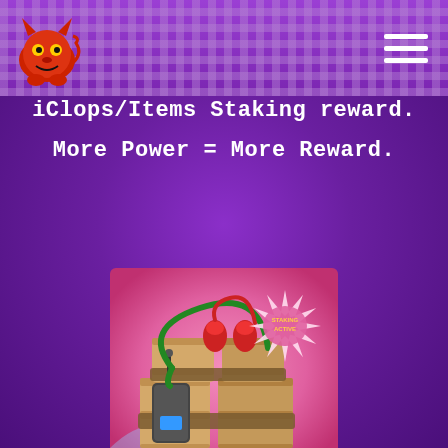[Figure (logo): Red devil/monster cartoon character logo in top-left corner of header bar]
[Figure (other): Hamburger menu icon (three white horizontal lines) in top-right corner]
iClops/Items Staking reward.
More Power = More Reward.
[Figure (illustration): Cartoon-style illustration of a TNT/bomb device made of wooden crates with green and red wires, a detonator/walkie-talkie device, red warning lights on top, and a starburst badge reading 'STAKING ACTIVE' in the upper right. Background is pink/purple gradient.]